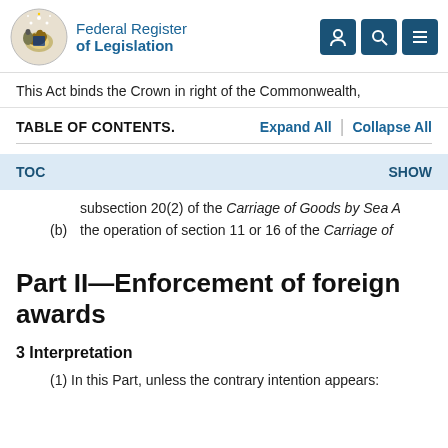Federal Register of Legislation
This Act binds the Crown in right of the Commonwealth,
TABLE OF CONTENTS.   Expand All  |  Collapse All
TOC   SHOW
subsection 20(2) of the Carriage of Goods by Sea A...
(b)  the operation of section 11 or 16 of the Carriage of
Part II—Enforcement of foreign awards
3  Interpretation
(1)  In this Part, unless the contrary intention appears: